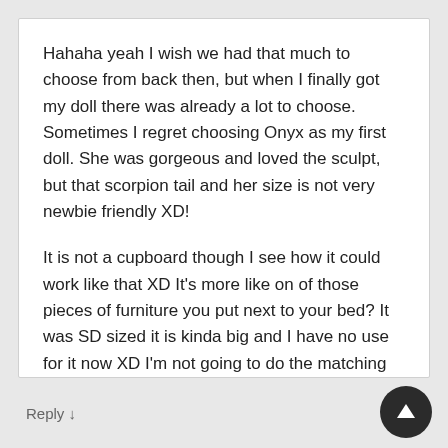Hahaha yeah I wish we had that much to choose from back then, but when I finally got my doll there was already a lot to choose. Sometimes I regret choosing Onyx as my first doll. She was gorgeous and loved the sculpt, but that scorpion tail and her size is not very newbie friendly XD!

It is not a cupboard though I see how it could work like that XD It's more like on of those pieces of furniture you put next to your bed? It was SD sized it is kinda big and I have no use for it now XD I'm not going to do the matching bed ever. So I either repurpose it or say goodbye to it lol.
Reply ↓